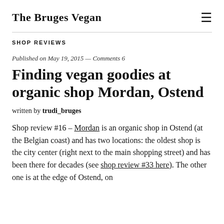The Bruges Vegan
SHOP REVIEWS
Published on May 19, 2015 — Comments 6
Finding vegan goodies at organic shop Mordan, Ostend
written by trudi_bruges
Shop review #16 – Mordan is an organic shop in Ostend (at the Belgian coast) and has two locations: the oldest shop is the city center (right next to the main shopping street) and has been there for decades (see shop review #33 here). The other one is at the edge of Ostend, on